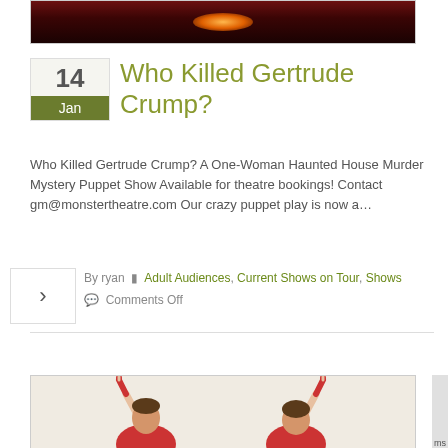[Figure (photo): Dark stage/theatre scene with warm orange glow light in center, dark red curtains or figures in background]
Who Killed Gertrude Crump?
Who Killed Gertrude Crump? A One-Woman Haunted House Murder Mystery Puppet Show Available for theatre bookings! Contact gm@monstertheatre.com Our crazy puppet play is now a…
By ryan  Adult Audiences, Current Shows on Tour, Shows
Comments Off
Read more...
[Figure (photo): Two people in red tops with arms raised up pointing with index fingers, light beige/cream background]